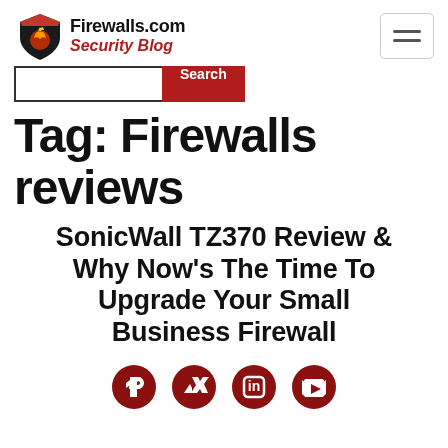Firewalls.com Security Blog
Tag: Firewalls reviews
SonicWall TZ370 Review & Why Now's The Time To Upgrade Your Small Business Firewall
[Figure (logo): Social media icons: Facebook, Twitter, LinkedIn, YouTube in dark red/crimson color]